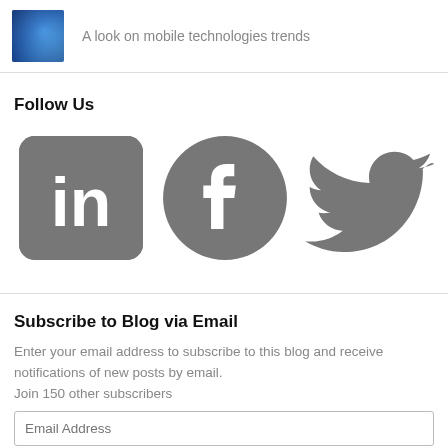[Figure (photo): Small thumbnail image of a person with blue technology/digital background]
A look on mobile technologies trends
Follow Us
[Figure (illustration): Social media icons: LinkedIn, Facebook, Twitter in gray]
Subscribe to Blog via Email
Enter your email address to subscribe to this blog and receive notifications of new posts by email.
Join 150 other subscribers